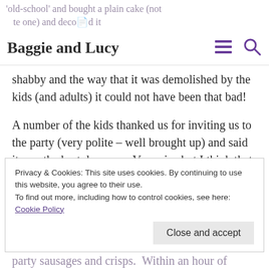'old-school' and bought a plain cake (not the chocolate one) and decorated it herself. As you can see it did not look too
Baggie and Lucy
shabby and the way that it was demolished by the kids (and adults) it could not have been that bad!
A number of the kids thanked us for inviting us to the party (very polite – well brought up) and said it was the best day ever.  Very nice but I think that they may have been exaggerating a little, but nice to know that they enjoyed themselves.
Privacy & Cookies: This site uses cookies. By continuing to use this website, you agree to their use.
To find out more, including how to control cookies, see here: Cookie Policy
party sausages and crisps.  Within an hour of